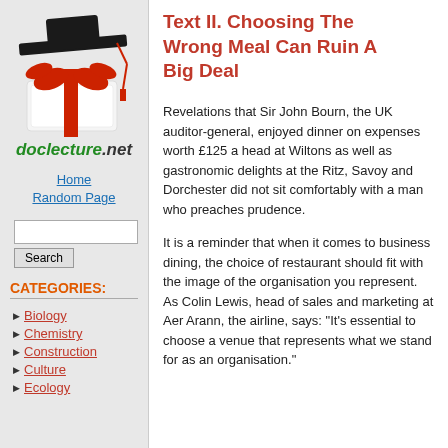[Figure (illustration): Graduation cap (mortarboard) with red ribbon on a white diploma/book, doclecture.net logo below]
doclecture.net
Home
Random Page
CATEGORIES:
Biology
Chemistry
Construction
Culture
Ecology
Text II. Choosing The Wrong Meal Can Ruin A Big Deal
Revelations that Sir John Bourn, the UK auditor-general, enjoyed dinner on expenses worth £125 a head at Wiltons as well as gastronomic delights at the Ritz, Savoy and Dorchester did not sit comfortably with a man who preaches prudence.
It is a reminder that when it comes to business dining, the choice of restaurant should fit with the image of the organisation you represent. As Colin Lewis, head of sales and marketing at Aer Arann, the airline, says: "It's essential to choose a venue that represents what we stand for as an organisation."